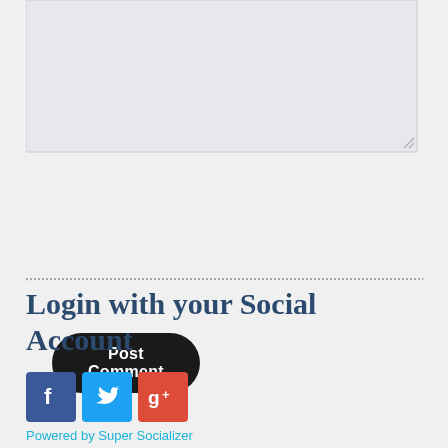[Figure (screenshot): A textarea input box with light gray background and a resize handle at bottom-right corner]
Post Comment
Login with your Social Account
[Figure (infographic): Three social login icon buttons: Facebook (blue with f logo), Twitter (light blue with bird logo), Google+ (red with g+ logo)]
Powered by Super Socializer